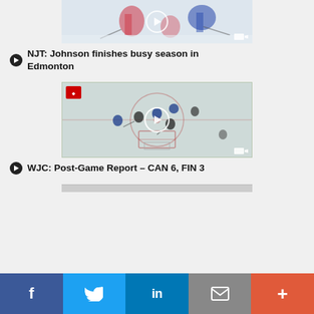[Figure (screenshot): Hockey game video thumbnail showing players on ice, with play button overlay and camera icon]
NJT: Johnson finishes busy season in Edmonton
[Figure (screenshot): Aerial view of hockey game video thumbnail with Canada logo, players on ice rink, play button overlay and camera icon]
WJC: Post-Game Report – CAN 6, FIN 3
f  Twitter  in  Email  +